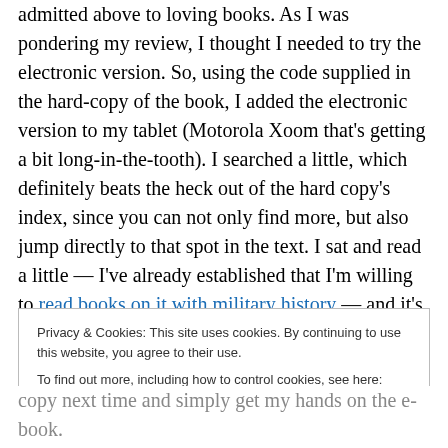admitted above to loving books. As I was pondering my review, I thought I needed to try the electronic version. So, using the code supplied in the hard-copy of the book, I added the electronic version to my tablet (Motorola Xoom that's getting a bit long-in-the-tooth). I searched a little, which definitely beats the heck out of the hard copy's index, since you can not only find more, but also jump directly to that spot in the text. I sat and read a little — I've already established that I'm willing to read books on it with military history — and it's very nice. When you get into books over a thousand pages, it's so much easier to tote
Privacy & Cookies: This site uses cookies. By continuing to use this website, you agree to their use. To find out more, including how to control cookies, see here: Cookie Policy
copy next time and simply get my hands on the e-book.